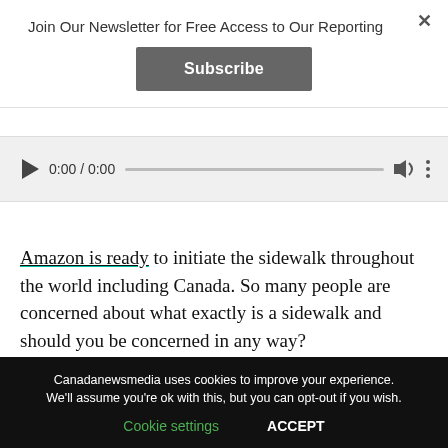Join Our Newsletter for Free Access to Our Reporting
Subscribe
[Figure (screenshot): Audio player showing 0:00 / 0:00 with play button, progress bar, volume icon, and more options icon]
Amazon is ready to initiate the sidewalk throughout the world including Canada. So many people are concerned about what exactly is a sidewalk and should you be concerned in any way?
[Figure (photo): Dark/black image area partially visible]
Canadanewsmedia uses cookies to improve your experience. We'll assume you're ok with this, but you can opt-out if you wish.
Cookie settings   ACCEPT